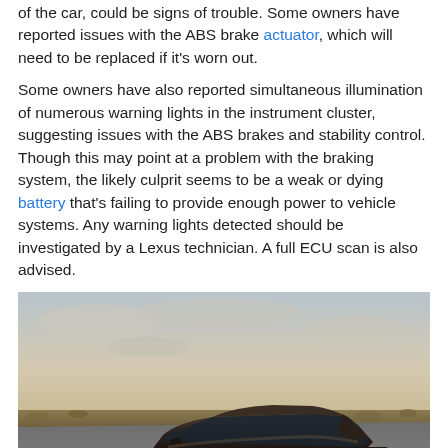of the car, could be signs of trouble. Some owners have reported issues with the ABS brake actuator, which will need to be replaced if it's worn out.
Some owners have also reported simultaneous illumination of numerous warning lights in the instrument cluster, suggesting issues with the ABS brakes and stability control. Though this may point at a problem with the braking system, the likely culprit seems to be a weak or dying battery that's failing to provide enough power to vehicle systems. Any warning lights detected should be investigated by a Lexus technician. A full ECU scan is also advised.
[Figure (photo): Rear three-quarter view of a dark-colored Lexus LS sedan driving on a road with a flat landscape and cloudy sky in the background.]